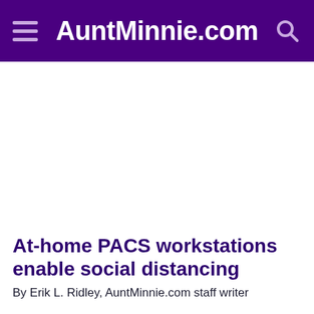AuntMinnie.com
At-home PACS workstations enable social distancing
By Erik L. Ridley, AuntMinnie.com staff writer